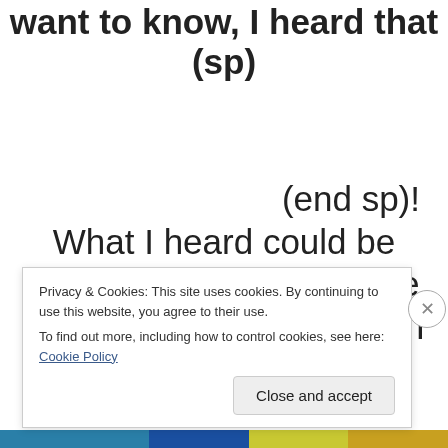want to know, I heard that (sp)
(end sp)!
What I heard could be wrong, but either way the story was ruined for me.  I won't waste my time
Privacy & Cookies: This site uses cookies. By continuing to use this website, you agree to their use.
To find out more, including how to control cookies, see here: Cookie Policy
Close and accept